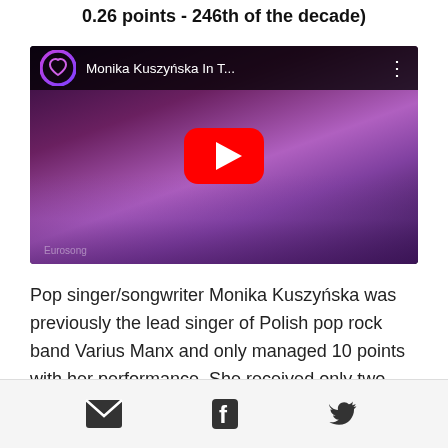0.26 points - 246th of the decade)
[Figure (screenshot): YouTube video thumbnail showing Monika Kuszyńska performing on stage with purple stage lighting. The video title bar reads 'Monika Kuszyńska In T...' with a heart logo icon and three-dot menu. A large red YouTube play button is centered on the thumbnail.]
Pop singer/songwriter Monika Kuszyńska was previously the lead singer of Polish pop rock band Varius Manx and only managed 10 points with her performance. She received only two points from the jury.
[Figure (infographic): Social sharing bar with email, Facebook, and Twitter icons]